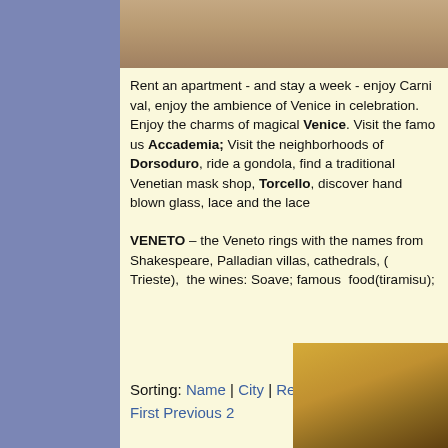[Figure (photo): Top photo showing a person in striped shirt, cropped at top of page]
Rent an apartment - and stay a week - enjoy Carnival, enjoy the ambience of Venice in celebration. Enjoy the charms of magical Venice. Visit the famous Accademia; Visit the neighborhoods of Dorsoduro, ride a gondola, find a traditional Venetian mask shop, Torcello, discover hand blown glass, lace and the best
VENETO – the Veneto rings with the names from Shakespeare, Palladian villas, cathedrals, ( Trieste),  the wines: Soave; famous  food(tiramisu);
Sorting: Name | City | Region | Occupancy
First Previous 2
[Figure (photo): Bottom right photo showing interior room with warm yellow walls and furnishings]